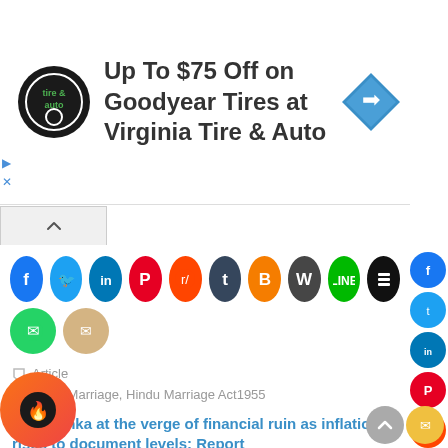[Figure (infographic): Advertisement banner: Virginia Tire & Auto logo (circular black badge), text 'Up To $75 Off on Goodyear Tires at Virginia Tire & Auto', blue diamond direction arrow icon on right. Small play and X controls on left edge.]
[Figure (infographic): Row of social media share buttons: Facebook (blue), Twitter (light blue), LinkedIn (dark blue), Pinterest (red), Reddit (orange), Tumblr (dark blue), Blogger (orange), WordPress (dark blue-grey), Line (green), Buffer (black); second row: WhatsApp (teal), Email (beige/tan)]
Article
Hindu Marriage, Hindu Marriage Act1955
« Sri Lanka at the verge of financial ruin as inflation rises to document levels: Report
trocious Facts regarding The origination Fathers » They intentionally Cut Out Of History Books
[Figure (infographic): Right sidebar with small circular social icons: Facebook, Twitter, LinkedIn, Pinterest, Reddit, WhatsApp, Email]